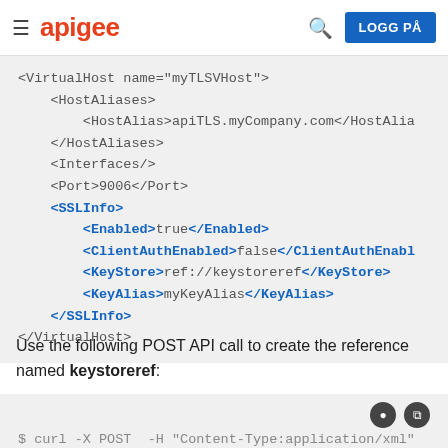≡ apigee [search] LOGG PÅ
<VirtualHost name="myTLSVHost">
    <HostAliases>
        <HostAlias>apiTLS.myCompany.com</HostAlias>
    </HostAliases>
    <Interfaces/>
    <Port>9006</Port>
    <SSLInfo>
        <Enabled>true</Enabled>
        <ClientAuthEnabled>false</ClientAuthEnabled>
        <KeyStore>ref://keystoreref</KeyStore>
        <KeyAlias>myKeyAlias</KeyAlias>
    </SSLInfo>
</VirtualHost>
Use the following POST API call to create the reference named keystoreref:
$ curl -X POST  -H "Content-Type:application/xml"